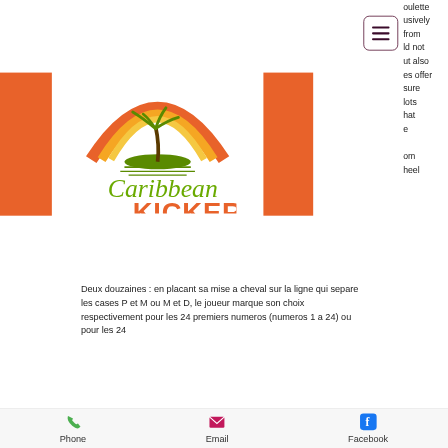[Figure (logo): Caribbean Kicker Soulful Island Cafe logo with palm tree and rainbow graphic]
oulette usively from ld not ut also es offer sure lots hat e om heel
Deux douzaines : en placant sa mise a cheval sur la ligne qui separe les cases P et M ou M et D, le joueur marque son choix respectivement pour les 24 premiers numeros (numeros 1 a 24) ou pour les 24
Phone   Email   Facebook